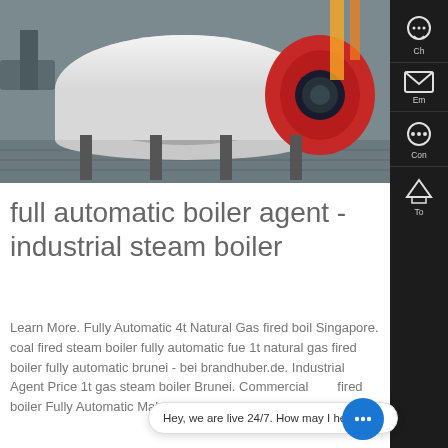[Figure (photo): Industrial boiler equipment with white cylindrical boiler body and red burner unit in a workshop setting]
full automatic boiler agent - industrial steam boiler
Learn More. Fully Automatic 4t Natural Gas fired boiler Singapore. coal fired steam boiler fully automatic fue 1t natural gas fired boiler fully automatic brunei - bei brandhuber.de. Industrial Agent Price 1t gas steam boiler Brunei. Commercial fired boiler Fully Automatic Maldives. auto boiler. ce 200 liters
[Figure (screenshot): WhatsApp icon button overlay with green background and phone icon]
Contact us now!
Learn More
[Figure (photo): Bottom portion of another industrial boiler image]
Hey, we are live 24/7. How may I help you?